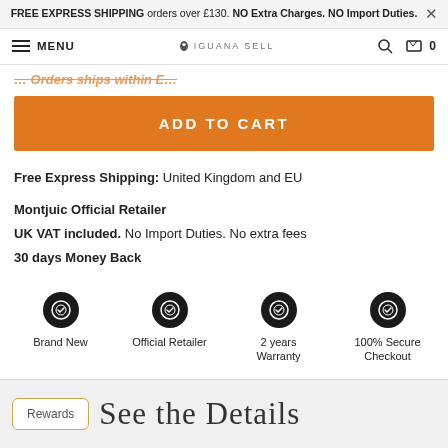FREE EXPRESS SHIPPING orders over £130. NO Extra Charges. NO Import Duties.
MENU  IGUANA SELL  0
... Orders ships within ...
ADD TO CART
Free Express Shipping: United Kingdom and EU
Montjuic Official Retailer
UK VAT included. No Import Duties. No extra fees
30 days Money Back
[Figure (infographic): Four badge icons in a row: Brand New, Official Retailer, 2 years Warranty, 100% Secure Checkout]
See the Details
Rewards